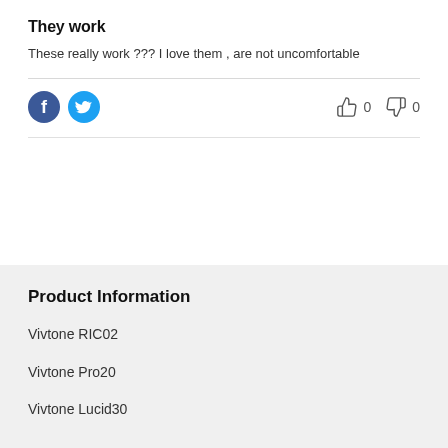They work
These really work ??? I love them , are not uncomfortable
[Figure (infographic): Facebook and Twitter social share icons (blue circles with F and bird logos), and thumbs up (0) and thumbs down (0) vote buttons]
Product Information
Vivtone RIC02
Vivtone Pro20
Vivtone Lucid30